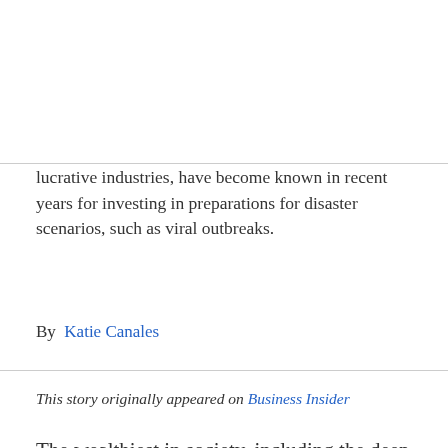lucrative industries, have become known in recent years for investing in preparations for disaster scenarios, such as viral outbreaks.
By  Katie Canales
This story originally appeared on Business Insider
The wealthiest in society, including the deep-pocketed of Silicon Valley, have developed a reputation for turning to New Zealand as a doomsday shelter destination hotspot.